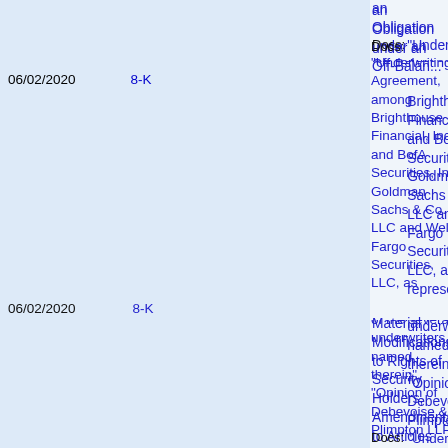an Obligation under an Off-Balan...
Docs: "Underwriting Agreement, among Brighthouse Financial, Inc. and BofA Securities, Inc., Goldman Sachs & Co. LLC and Wells Fargo Securities, LLC, as representatives of the several underwriters named therein", "Opinion of Debevoise & Plimpton LLP"
| Date | Type | Description |
| --- | --- | --- |
| 06/02/2020 | 8-K | "Underwriting Agreement, among Brighthouse Financial, Inc. and BofA Securities, Inc., Goldman Sachs & Co. LLC and Wells Fargo Securities, LLC, as representatives of the several underwriters named therein", "Opinion of Debevoise & Plimpton LLP" |
|  |  | Material Modifications to Rights of Security Holders, Amendments to Articles of Incorporation or Bylaws; Change in Fiscal Yea... |
Material Modifications to Rights of Security Holders, Amendments to Articles of Incorporation or Bylaws; Change in Fiscal Yea...
Docs: "Underwriting Agreement,